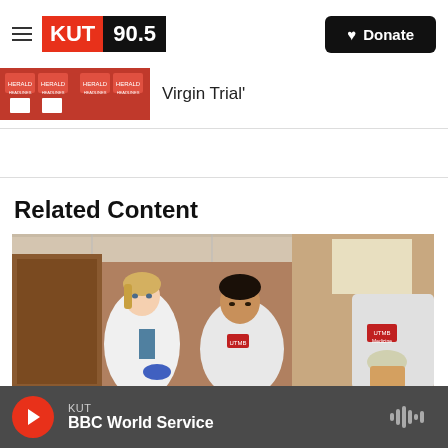KUT 90.5 | Donate
Virgin Trial'
Related Content
[Figure (photo): Medical professionals in white lab coats working together in a clinical setting]
KUT BBC World Service